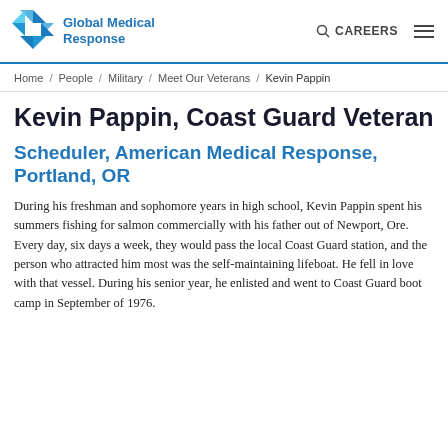Global Medical Response | CAREERS
Home / People / Military / Meet Our Veterans / Kevin Pappin
Kevin Pappin, Coast Guard Veteran
Scheduler, American Medical Response, Portland, OR
During his freshman and sophomore years in high school, Kevin Pappin spent his summers fishing for salmon commercially with his father out of Newport, Ore. Every day, six days a week, they would pass the local Coast Guard station, and the person who attracted him most was the self-maintaining lifeboat. He fell in love with that vessel. During his senior year, he enlisted and went to Coast Guard boot camp in September of 1976.
This website uses cookies to enhance user experience and to analyze performance and traffic on our website. We also share information about your use of our site with our social media, advertising and analytics partners. Privacy Policy
I agree
...ting his training, Pappin was stationed on a root High-Endurance Cutter out of Boston, later providing